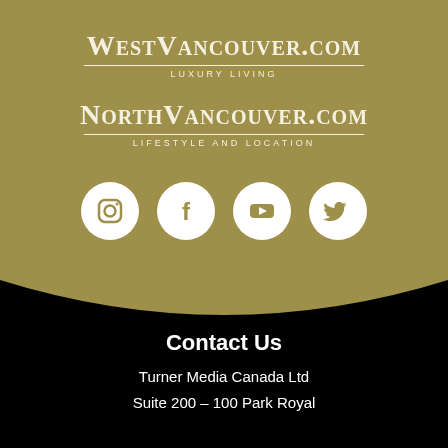[Figure (logo): WestVancouver.com luxury living logo in white text on gold background with horizontal dividing line and 'LUXURY LIVING' subtitle]
[Figure (logo): NorthVancouver.com lifestyle and location logo in white text on gold background with horizontal dividing line and 'LIFESTYLE AND LOCATION' subtitle]
[Figure (infographic): Four white social media icons on circular backgrounds: Instagram, Facebook, YouTube, Twitter]
Contact Us
Turner Media Canada Ltd
Suite 200 – 100 Park Royal